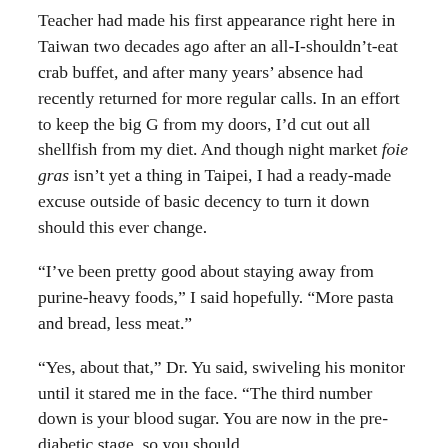Teacher had made his first appearance right here in Taiwan two decades ago after an all-I-shouldn't-eat crab buffet, and after many years' absence had recently returned for more regular calls. In an effort to keep the big G from my doors, I'd cut out all shellfish from my diet. And though night market foie gras isn't yet a thing in Taipei, I had a ready-made excuse outside of basic decency to turn it down should this ever change.
“I’ve been pretty good about staying away from purine-heavy foods,” I said hopefully. “More pasta and bread, less meat.”
“Yes, about that,” Dr. Yu said, swiveling his monitor until it stared me in the face. “The third number down is your blood sugar. You are now in the pre-diabetic stage, so you should